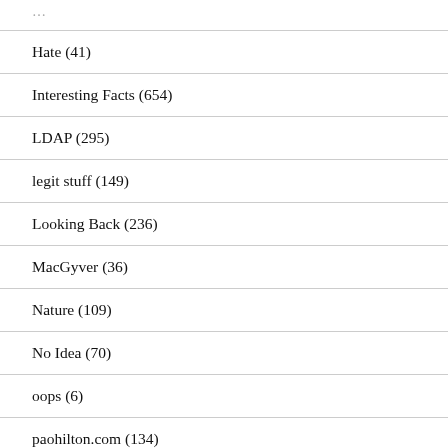Hate (41)
Interesting Facts (654)
LDAP (295)
legit stuff (149)
Looking Back (236)
MacGyver (36)
Nature (109)
No Idea (70)
oops (6)
paohilton.com (134)
PAOlitics (70)